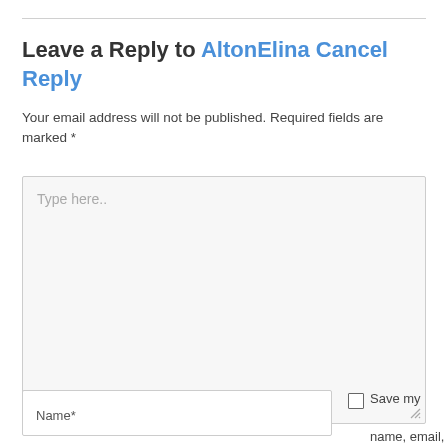Leave a Reply to AltonElina Cancel Reply
Your email address will not be published. Required fields are marked *
[Figure (screenshot): A textarea form input with placeholder text 'Type here..' and a resize handle at bottom-right]
Name*
Save my name, email, and